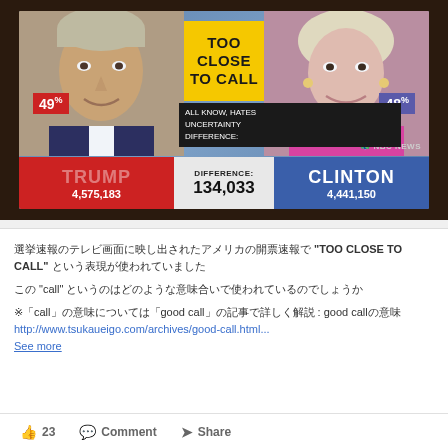[Figure (screenshot): NBC News TV screenshot showing 2016 US election results: Trump 49% with 4,575,183 votes vs Clinton 48% with 4,441,150 votes. Center shows 'TOO CLOSE TO CALL' on yellow background with difference of 134,033. A tooltip overlay reads 'ALL KNOW HATES UNCERTAINTY DIFFERENCE:']
選挙速報のテレビ画面に映し出されたアメリカの開票速報で "TOO CLOSE TO CALL" という表現が使われていました
この "call" というのはどのような意味合いで使われているのでしょうか
※「call」の意味については「good call」の記事で詳しく解説 : good callの意味
http://www.tsukaueigo.com/archives/good-call.html...
See more
👍 23   Comment   Share